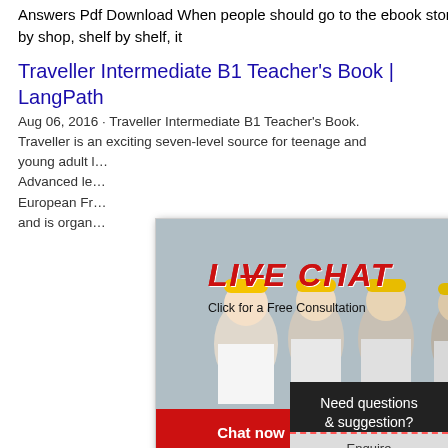Answers Pdf Download When people should go to the ebook stores, search commencement by shop, shelf by shelf, it
Traveller Intermediate B1 Teacher's Book | LangPath
Aug 06, 2016 · Traveller Intermediate B1 Teacher's Book. Traveller is an exciting seven-level source for teenage and young adult l… Advanced le… European Fr… and is organ…
[Figure (screenshot): Live chat popup with workers in hard hats in background, showing 'LIVE CHAT' red italic text, 'Click for a Free Consultation' subtitle, 'Chat now' red button and 'Chat later' dark button]
[Figure (screenshot): Red banner reading 'Hrs Online' on right side]
Traveller Intermediate B1 Teache…
Sep 29, 2021 · traveller-intermediate-b1-t… 3/11 Downloaded from makeover.ixiacon… 29, 2021 by guest objectives, lots of prac… personalization activities, and exam prep… course now embraces a wide range of te… furnishing the teacher with a flexible pick…
[Figure (screenshot): Customer support popup with dark background, 'Need questions & suggestion?' text, and red 'Chat Now' button, with woman wearing headset]
[Figure (screenshot): Enquire button at bottom right]